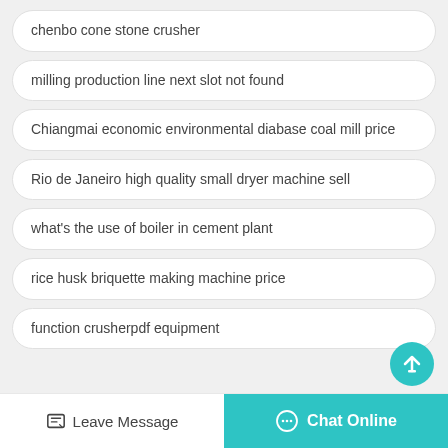chenbo cone stone crusher
milling production line next slot not found
Chiangmai economic environmental diabase coal mill price
Rio de Janeiro high quality small dryer machine sell
what's the use of boiler in cement plant
rice husk briquette making machine price
function crusherpdf equipment
Leave Message  Chat Online